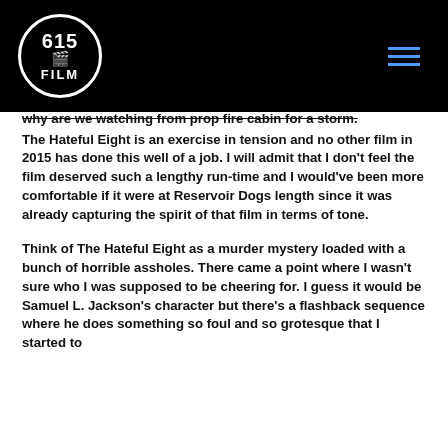615 FILM
why are we watching from prop fire cabin for a storm. The Hateful Eight is an exercise in tension and no other film in 2015 has done this well of a job. I will admit that I don't feel the film deserved such a lengthy run-time and I would've been more comfortable if it were at Reservoir Dogs length since it was already capturing the spirit of that film in terms of tone.
Think of The Hateful Eight as a murder mystery loaded with a bunch of horrible assholes. There came a point where I wasn't sure who I was supposed to be cheering for. I guess it would be Samuel L. Jackson's character but there's a flashback sequence where he does something so foul and so grotesque that I started to